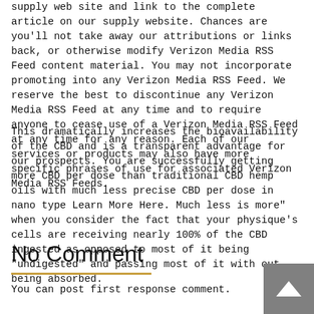supply web site and link to the complete article on our supply website. Chances are you'll not take away our attributions or links back, or otherwise modify Verizon Media RSS Feed content material. You may not incorporate promoting into any Verizon Media RSS Feed. We reserve the best to discontinue any Verizon Media RSS Feed at any time and to require anyone to cease use of a Verizon Media RSS Feed at any time for any reason. Each of our services or products may also have more specific phrases of use for associated Verizon Media RSS Feeds.
This dramatically increases the bioavailability of the CBD and is a transparent advantage for our prospects. You are successfully getting more CBD per dose than traditional CBD hemp oils with much less precise CBD per dose in nano type Learn More Here. Much less is more" when you consider the fact that your physique's cells are receiving nearly 100% of the CBD ingested as opposed to most of it being "undigested" and passing most of it with out being absorbed.
No Comment
You can post first response comment.